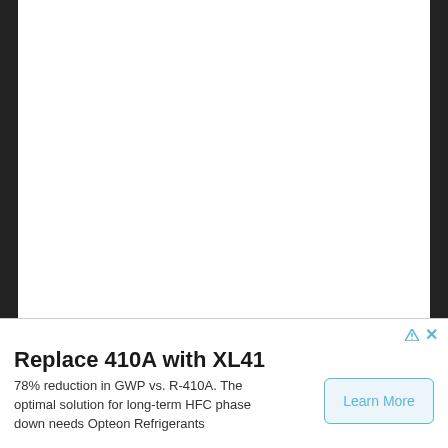[Figure (photo): White/blank upper area with dark borders on sides, appearing to show a faded or white-out background image]
Replace 410A with XL41
78% reduction in GWP vs. R-410A. The optimal solution for long-term HFC phase down needs Opteon Refrigerants